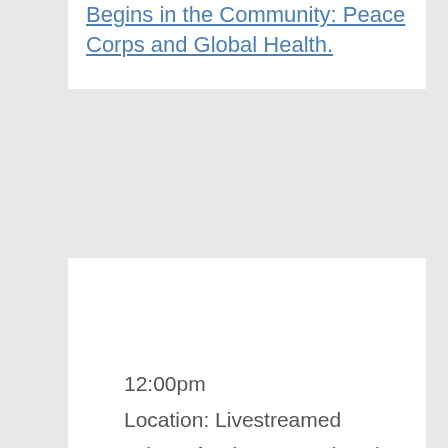Begins in the Community: Peace Corps and Global Health.
Voices in Leadership: Jack Markell
12:00pm
Location: Livestreamed
Join us for the next Voices in Leadership event, "Leading by Preparing for a Changing World," featuring Jack Markell, former Governor of Delaware. During his tenure,